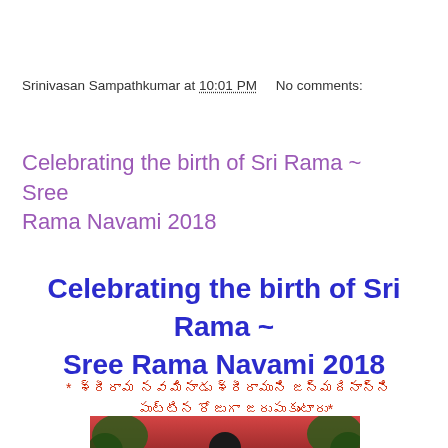Srinivasan Sampathkumar at 10:01 PM    No comments:
Celebrating the birth of Sri Rama ~ Sree Rama Navami 2018
Celebrating the birth of Sri Rama ~ Sree Rama Navami 2018
* [Telugu script text]
[Figure (photo): Photograph of a person at a religious event with a red decorated background]